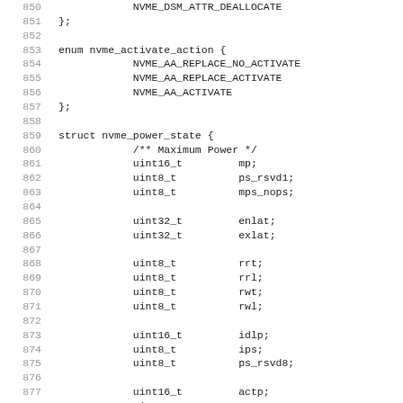Code listing showing C struct and enum definitions for nvme_activate_action and nvme_power_state, lines 850-879+